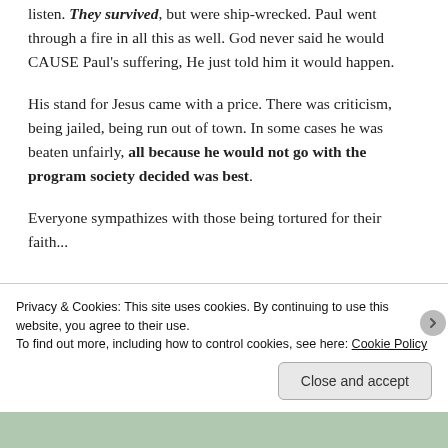listen. They survived, but were ship-wrecked. Paul went through a fire in all this as well. God never said he would CAUSE Paul's suffering, He just told him it would happen.
His stand for Jesus came with a price. There was criticism, being jailed, being run out of town. In some cases he was beaten unfairly, all because he would not go with the program society decided was best.
Everyone sympathizes with those being tortured for their faith...
Privacy & Cookies: This site uses cookies. By continuing to use this website, you agree to their use.
To find out more, including how to control cookies, see here: Cookie Policy